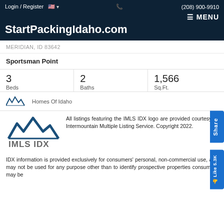Login / Register  (208) 900-9910  MENU
StartPackingIdaho.com
MERIDIAN, ID 83642
Sportsman Point
| Beds | Baths | Sq.Ft. |
| --- | --- | --- |
| 3 | 2 | 1,566 |
Homes Of Idaho
[Figure (logo): IMLS IDX logo with mountain peaks graphic]
All listings featuring the IMLS IDX logo are provided courtesy of Intermountain Multiple Listing Service. Copyright 2022.
IDX information is provided exclusively for consumers' personal, non-commercial use, and may not be used for any purpose other than to identify prospective properties consumers may be